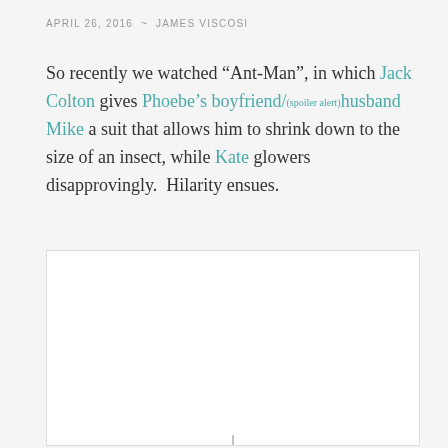APRIL 26, 2016  ~  JAMES VISCOSI
So recently we watched “Ant-Man”, in which Jack Colton gives Phoebe’s boyfriend/(spoiler alert)husband Mike a suit that allows him to shrink down to the size of an insect, while Kate glowers disapprovingly.  Hilarity ensues.
[Figure (photo): A white/light-colored image box, mostly blank, with a small tick mark visible at the bottom center, suggesting an image that is mostly cut off or not fully loaded.]